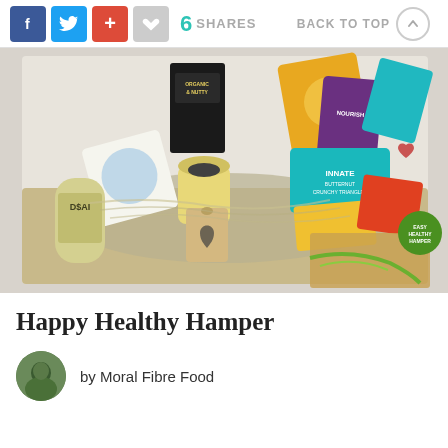f [Facebook] [Twitter] + [Like] 6 SHARES BACK TO TOP
[Figure (photo): A cardboard box filled with healthy food hamper items including Nollach Organic & Nutty Oat Granola, Nourish chocolate, Pukka tea, DSAI drink can, a jar with lemon curd, Innate Butternut Squash Crunchy Triangles, and other snacks, arranged with shredded paper and a gift tag with a leaf heart stamp.]
Happy Healthy Hamper
by Moral Fibre Food